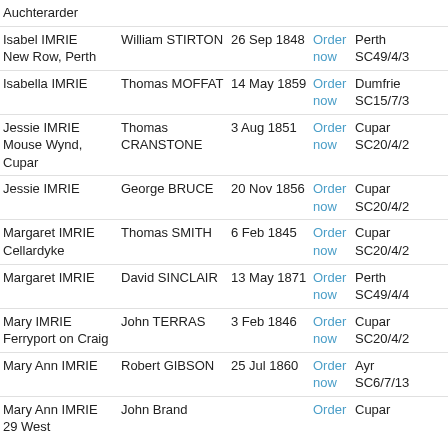| Name | Spouse | Date | Order | Reference |
| --- | --- | --- | --- | --- |
| Auchterarder |  |  |  |  |
| Isabel IMRIE
New Row, Perth | William STIRTON | 26 Sep 1848 | Order now | Perth
SC49/4/3... |
| Isabella IMRIE | Thomas MOFFAT | 14 May 1859 | Order now | Dumfrie...
SC15/7/3... |
| Jessie IMRIE
Mouse Wynd, Cupar | Thomas CRANSTONE | 3 Aug 1851 | Order now | Cupar
SC20/4/2... |
| Jessie IMRIE | George BRUCE | 20 Nov 1856 | Order now | Cupar
SC20/4/2... |
| Margaret IMRIE
Cellardyke | Thomas SMITH | 6 Feb 1845 | Order now | Cupar
SC20/4/2... |
| Margaret IMRIE | David SINCLAIR | 13 May 1871 | Order now | Perth
SC49/4/4... |
| Mary IMRIE
Ferryport on Craig | John TERRAS | 3 Feb 1846 | Order now | Cupar
SC20/4/2... |
| Mary Ann IMRIE | Robert GIBSON | 25 Jul 1860 | Order now | Ayr
SC6/7/13... |
| Mary Ann IMRIE
29 West | John Brand | 22 Aug 1880... | Order | Cupar |